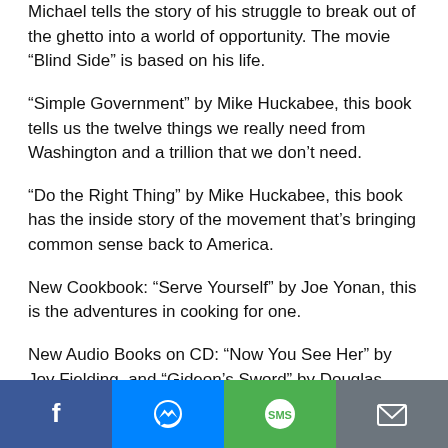Michael tells the story of his struggle to break out of the ghetto into a world of opportunity. The movie “Blind Side” is based on his life.
“Simple Government” by Mike Huckabee, this book tells us the twelve things we really need from Washington and a trillion that we don’t need.
“Do the Right Thing” by Mike Huckabee, this book has the inside story of the movement that’s bringing common sense back to America.
New Cookbook: “Serve Yourself” by Joe Yonan, this is the adventures in cooking for one.
New Audio Books on CD: “Now You See Her” by Joy Fielding, and “Gideon’s Sword” by Douglas Preston and Lincoln Child.